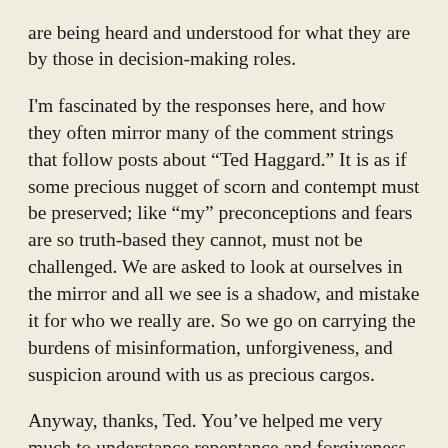are being heard and understood for what they are by those in decision-making roles.
I'm fascinated by the responses here, and how they often mirror many of the comment strings that follow posts about “Ted Haggard.” It is as if some precious nugget of scorn and contempt must be preserved; like “my” preconceptions and fears are so truth-based they cannot, must not be challenged. We are asked to look at ourselves in the mirror and all we see is a shadow, and mistake it for who we really are. So we go on carrying the burdens of misinformation, unforgiveness, and suspicion around with us as precious cargos.
Anyway, thanks, Ted. You’ve helped me very much to understance repentance and forgiveness, and mistakes I had made in understanding both.
★  Loading...